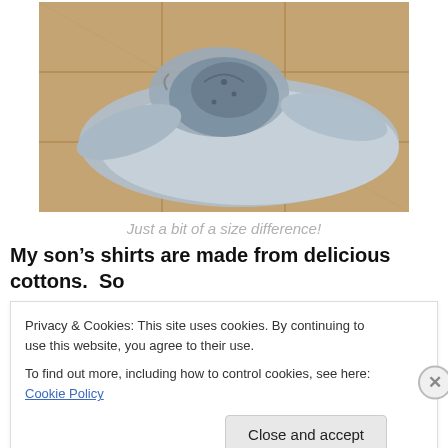[Figure (photo): Photo of shirts laid on a tiled floor — a large light grey/blue shirt spread out with a much smaller shirt or garment piled on top of it, showing size difference.]
Just a bit of a size difference!
My son’s shirts are made from delicious cottons.  So
Privacy & Cookies: This site uses cookies. By continuing to use this website, you agree to their use.
To find out more, including how to control cookies, see here: Cookie Policy
Close and accept